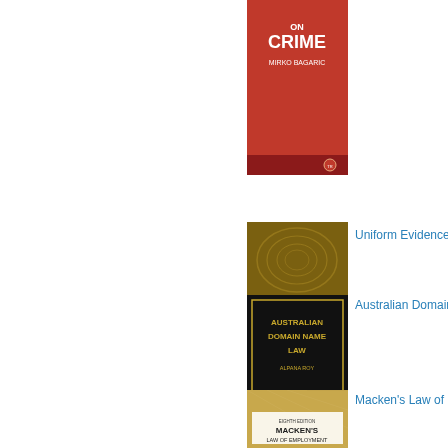[Figure (photo): Book cover: On Crime by Mirko Bagaric, red cover with Thomson Reuters publisher logo]
[Figure (photo): Book cover: Uniform Evidence Law, Twelfth Edition by Stephen Odgers, dark cover with fingerprint image and Thomson Reuters publisher logo]
Uniform Evidence L...
[Figure (photo): Book cover: Australian Domain Name Law by Alpana Roy, black cover with gold text and Thomson Reuters publisher logo]
Australian Domain N...
[Figure (photo): Book cover: Macken's Law of Employment, Eighth Edition, cover with building/glass facade image]
Macken's Law of Em...